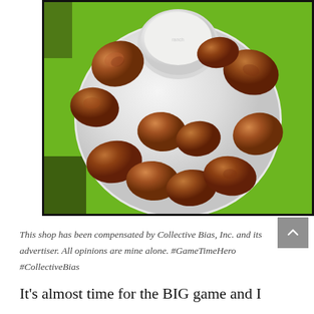[Figure (photo): Photo of fried chicken bites/nuggets arranged on a white round plate with a bowl of white dipping sauce (ranch) in the center, placed on a green surface. The plate is photographed from above.]
This shop has been compensated by Collective Bias, Inc. and its advertiser. All opinions are mine alone. #GameTimeHero #CollectiveBias
It's almost time for the BIG game and I